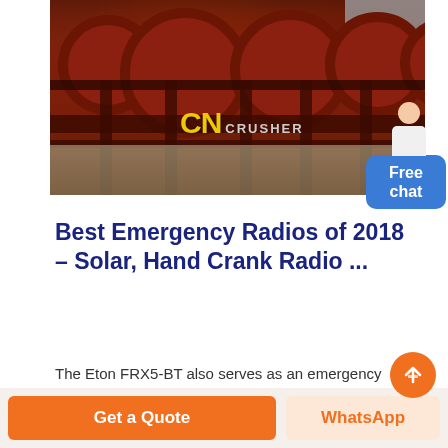[Figure (photo): Industrial machinery photo showing large red/rust-colored gear wheels or drum crushers lined up in a row, with CN CRUSHER watermark overlay in yellow and white text]
Best Emergency Radios of 2018 – Solar, Hand Crank Radio ...
The Eton FRX5-BT also serves as an emergency preparedness tool ... which means it can handle